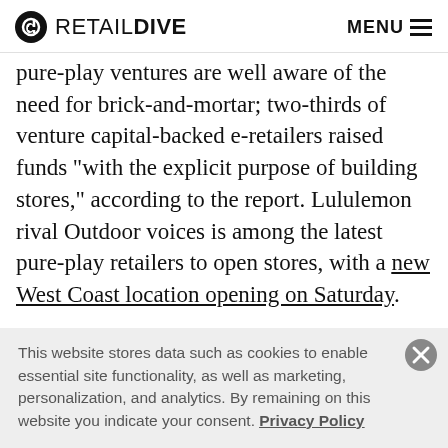RETAIL DIVE  MENU
pure-play ventures are well aware of the need for brick-and-mortar; two-thirds of venture capital-backed e-retailers raised funds “with the explicit purpose of building stores,” according to the report. Lululemon rival Outdoor voices is among the latest pure-play retailers to open stores, with a new West Coast location opening on Saturday.
More interesting, perhaps, is Everlane’s proven ability to avoid discounting, by being transparent (“radically
This website stores data such as cookies to enable essential site functionality, as well as marketing, personalization, and analytics. By remaining on this website you indicate your consent. Privacy Policy